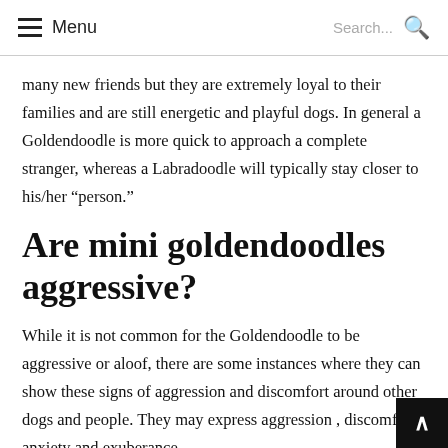Menu | Search...
many new friends but they are extremely loyal to their families and are still energetic and playful dogs. In general a Goldendoodle is more quick to approach a complete stranger, whereas a Labradoodle will typically stay closer to his/her “person.”
Are mini goldendoodles aggressive?
While it is not common for the Goldendoodle to be aggressive or aloof, there are some instances where they can show these signs of aggression and discomfort around other dogs and people. They may express aggression , discomfort, anxiety and exuberance.